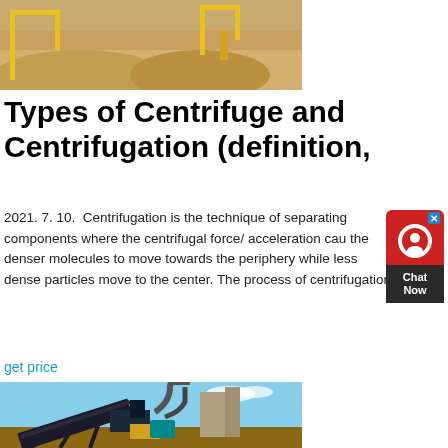[Figure (photo): Top portion of an industrial/mining facility with sandy material piles and yellow equipment structures]
Types of Centrifuge and Centrifugation (definition,
2021. 7. 10.  Centrifugation is the technique of separating components where the centrifugal force/ acceleration causes the denser molecules to move towards the periphery while less dense particles move to the center. The process of centrifugation
get price
[Figure (photo): Industrial machinery/conveyor belt equipment at an outdoor facility with blue sky background]